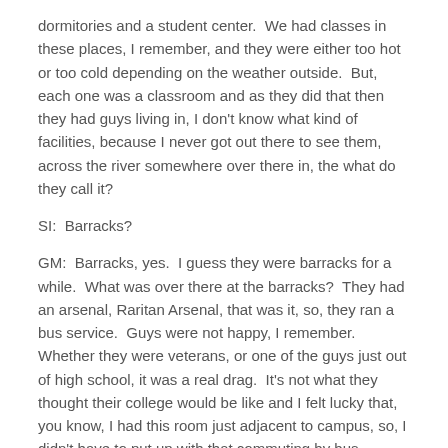dormitories and a student center.  We had classes in these places, I remember, and they were either too hot or too cold depending on the weather outside.  But, each one was a classroom and as they did that then they had guys living in, I don't know what kind of facilities, because I never got out there to see them, across the river somewhere over there in, the what do they call it?
SI:  Barracks?
GM:  Barracks, yes.  I guess they were barracks for a while.  What was over there at the barracks?  They had an arsenal, Raritan Arsenal, that was it, so, they ran a bus service.  Guys were not happy, I remember.  Whether they were veterans, or one of the guys just out of high school, it was a real drag.  It's not what they thought their college would be like and I felt lucky that, you know, I had this room just adjacent to campus, so, I didn't have to put up with that commuting by bus everyday.  But it was tough.  It was tough, yes, in that respect for a lot of guys starting; I think that's why a lot of guys transferred.  I know people who transferred after the first year there.  They wanted to go to greener pastures.  "I'm going to Michigan. I'm going to go to Tennessee, it's so much nicer out there."